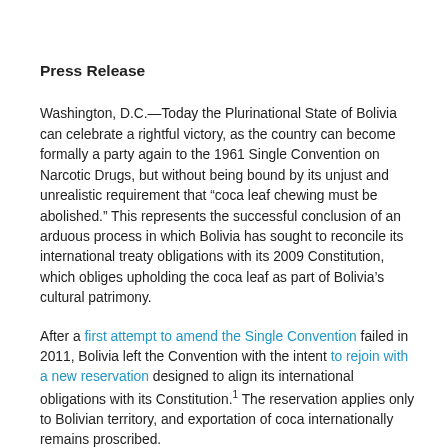Press Release
Washington, D.C.—Today the Plurinational State of Bolivia can celebrate a rightful victory, as the country can become formally a party again to the 1961 Single Convention on Narcotic Drugs, but without being bound by its unjust and unrealistic requirement that “coca leaf chewing must be abolished.” This represents the successful conclusion of an arduous process in which Bolivia has sought to reconcile its international treaty obligations with its 2009 Constitution, which obliges upholding the coca leaf as part of Bolivia’s cultural patrimony.
After a first attempt to amend the Single Convention failed in 2011, Bolivia left the Convention with the intent to rejoin with a new reservation designed to align its international obligations with its Constitution.¹ The reservation applies only to Bolivian territory, and exportation of coca internationally remains proscribed.
Similar to the effort mounted by some countries to derail Bolivia’s